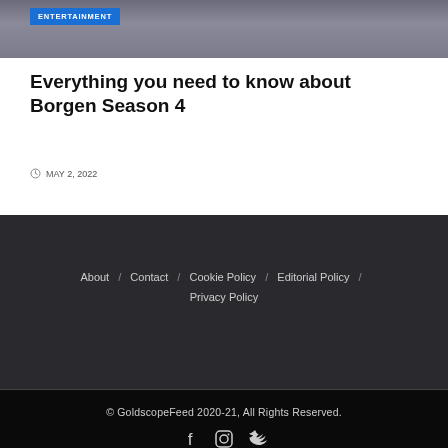[Figure (photo): Entertainment article header image showing people, with a blue ENTERTAINMENT badge overlay]
Everything you need to know about Borgen Season 4
MAY 2, 2022
About / Contact / Cookie Policy / Editorial Policy / Privacy Policy
© GoldscopeFeed 2020-21, All Rights Reserved.